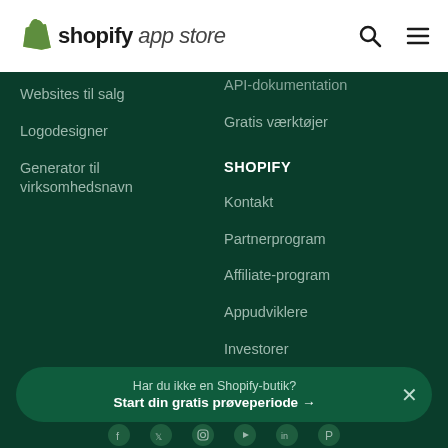shopify app store
API-dokumentation
Websites til salg
Gratis værktøjer
Logodesigner
Generator til virksomhedsnavn
SHOPIFY
Kontakt
Partnerprogram
Affiliate-program
Appudviklere
Investorer
Har du ikke en Shopify-butik? Start din gratis prøveperiode →